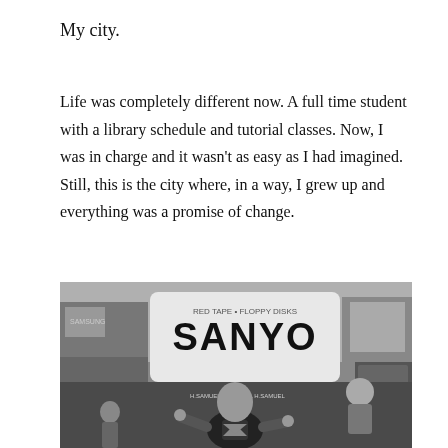My city.
Life was completely different now. A full time student with a library schedule and tutorial classes. Now, I was in charge and it wasn't as easy as I had imagined. Still, this is the city where, in a way, I grew up and everything was a promise of change.
[Figure (photo): Black and white photograph of Piccadilly Circus in London with a SANYO billboard prominently displayed and a person wearing a Superman t-shirt in the foreground.]